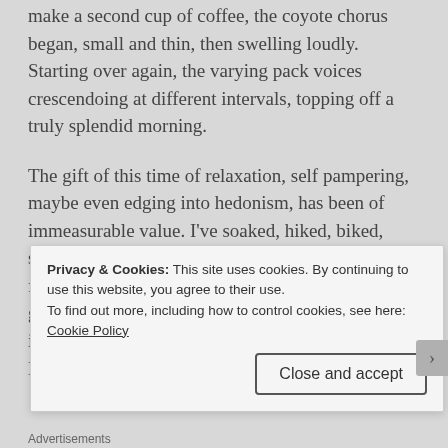make a second cup of coffee, the coyote chorus began, small and thin, then swelling loudly. Starting over again, the varying pack voices crescendoing at different intervals, topping off a truly splendid morning.
The gift of this time of relaxation, self pampering, maybe even edging into hedonism, has been of immeasurable value. I've soaked, hiked, biked, steamed, danced, sunned and swam. I've donned femininity again for a time, something that really gets put aside for the most part when boondocking in the desert – for both practical and safety reasons. But maybe I'll be impractical every now and again
Privacy & Cookies: This site uses cookies. By continuing to use this website, you agree to their use.
To find out more, including how to control cookies, see here: Cookie Policy
Close and accept
Advertisements